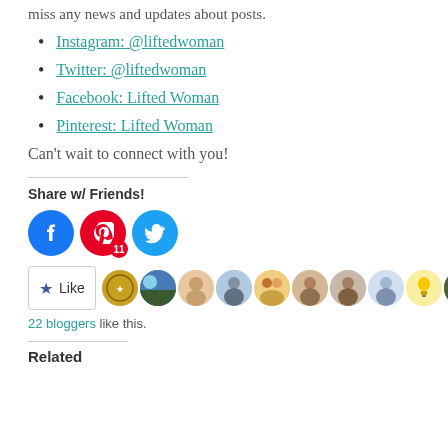miss any news and updates about posts.
Instagram: @liftedwoman
Twitter: @liftedwoman
Facebook: Lifted Woman
Pinterest: Lifted Woman
Can't wait to connect with you!
Share w/ Friends!
[Figure (other): Social share buttons: Facebook, Pinterest (with count 11), Twitter]
[Figure (other): Like button and 22 blogger avatars]
22 bloggers like this.
Related